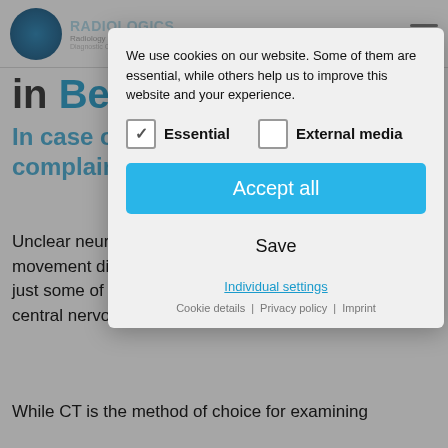[Figure (screenshot): Website header with logo (radiology/nuclear medicine practice in Berlin), navigation icons, hamburger menu]
in Berlin
In case of unclear neurological complaints
Unclear neurological complaints, headaches, dizziness, movement disorders and increasing forgetfulness are just some of the reasons that necessitate imaging of the central nervous system (CNS).
While CT is the method of choice for examining
[Figure (screenshot): Cookie consent modal dialog with text: 'We use cookies on our website. Some of them are essential, while others help us to improve this website and your experience.' Checkboxes for Essential (checked) and External media (unchecked). Buttons: Accept all (blue), Save, Individual settings link, Cookie details | Privacy policy | Imprint footer links.]